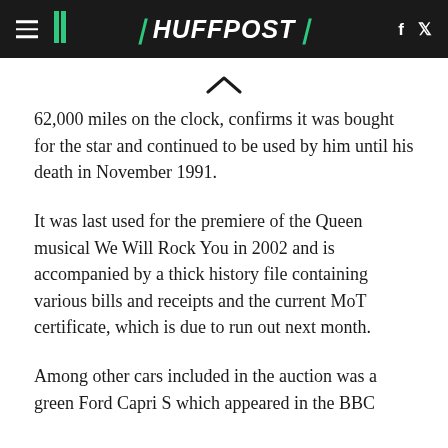HuffPost
62,000 miles on the clock, confirms it was bought for the star and continued to be used by him until his death in November 1991.
It was last used for the premiere of the Queen musical We Will Rock You in 2002 and is accompanied by a thick history file containing various bills and receipts and the current MoT certificate, which is due to run out next month.
Among other cars included in the auction was a green Ford Capri S which appeared in the BBC